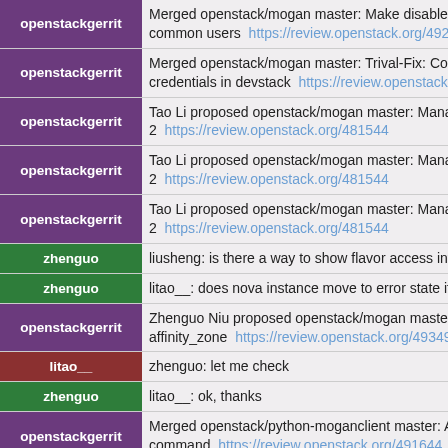openstackgerrit | Merged openstack/mogan master: Make disabled ... common users https://review.openstack.org/49248...
openstackgerrit | Merged openstack/mogan master: Trival-Fix: Corr... credentials in devstack https://review.openstack.or...
openstackgerrit | Tao Li proposed openstack/mogan master: Manage... 2 https://review.openstack.org/481544
openstackgerrit | Tao Li proposed openstack/mogan master: Manage... 2 https://review.openstack.org/481544
openstackgerrit | Tao Li proposed openstack/mogan master: Manage... 2 https://review.openstack.org/481544
zhenguo | liusheng: is there a way to show flavor access info...
zhenguo | litao__: does nova instance move to error state if p...
openstackgerrit | Zhenguo Niu proposed openstack/mogan master: A... affinity_zone https://review.openstack.org/493495...
litao__ | zhenguo: let me check
zhenguo | litao__: ok, thanks
openstackgerrit | Merged openstack/python-moganclient master: Ad... command https://review.openstack.org/491644
liusheng | zhenguo: not yet
zhenguo | liusheng: how nova handle that?
zhenguo | liusheng: return with flavor or a separated CLI
liusheng | zhenguo: seems Nova has sapareted commands to...